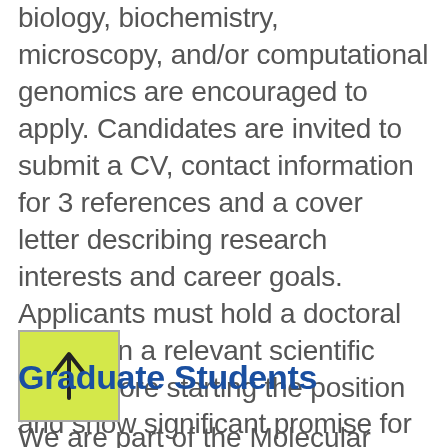biology, biochemistry, microscopy, and/or computational genomics are encouraged to apply. Candidates are invited to submit a CV, contact information for 3 references and a cover letter describing research interests and career goals. Applicants must hold a doctoral degree in a relevant scientific area before starting the position and show significant promise for leading an independent research project, including outstanding publications in peer-reviewed journals and/or pre-prints.
[Figure (other): Yellow-green square button with an upward-pointing arrow icon]
Graduate Students
We are part of the Molecular